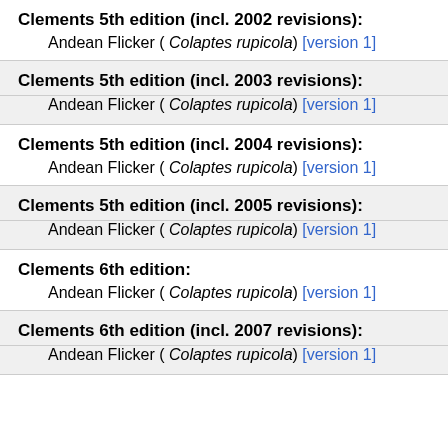Clements 5th edition (incl. 2002 revisions):
Andean Flicker ( Colaptes rupicola) [version 1]
Clements 5th edition (incl. 2003 revisions):
Andean Flicker ( Colaptes rupicola) [version 1]
Clements 5th edition (incl. 2004 revisions):
Andean Flicker ( Colaptes rupicola) [version 1]
Clements 5th edition (incl. 2005 revisions):
Andean Flicker ( Colaptes rupicola) [version 1]
Clements 6th edition:
Andean Flicker ( Colaptes rupicola) [version 1]
Clements 6th edition (incl. 2007 revisions):
Andean Flicker ( Colaptes rupicola) [version 1]